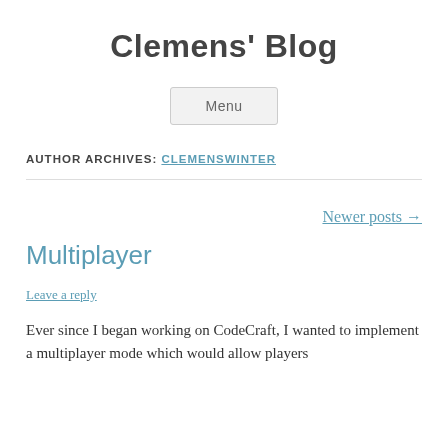Clemens' Blog
Menu
AUTHOR ARCHIVES: CLEMENSWINTER
Newer posts →
Multiplayer
Leave a reply
Ever since I began working on CodeCraft, I wanted to implement a multiplayer mode which would allow players